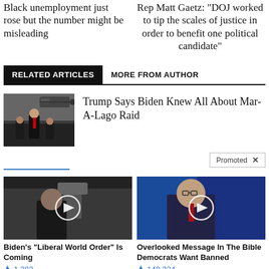Black unemployment just rose but the number might be misleading
Rep Matt Gaetz: “DOJ worked to tip the scales of justice in order to benefit one political candidate”
RELATED ARTICLES
MORE FROM AUTHOR
[Figure (photo): Photo of Trump walking with security personnel near a helicopter]
Trump Says Biden Knew All About Mar-A-Lago Raid
Promoted
[Figure (photo): Black and white video thumbnail of a man at a desk, with play button overlay. Caption: Biden's "Liberal World Order" Is Coming]
Biden's "Liberal World Order" Is Coming
🔥 1,283
[Figure (photo): Color video thumbnail of a man in a suit speaking at a podium on a blue background, with play button overlay. Caption: Overlooked Message In The Bible Democrats Want Banned]
Overlooked Message In The Bible Democrats Want Banned
🔥 149,324